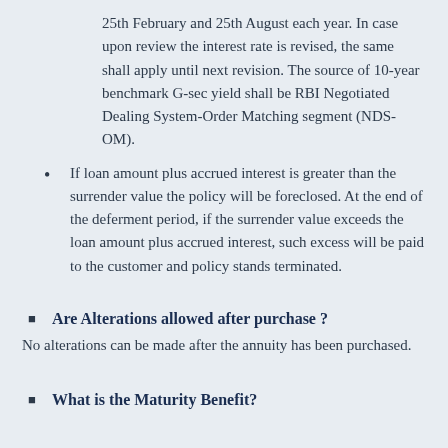25th February and 25th August each year. In case upon review the interest rate is revised, the same shall apply until next revision. The source of 10-year benchmark G-sec yield shall be RBI Negotiated Dealing System-Order Matching segment (NDS-OM).
If loan amount plus accrued interest is greater than the surrender value the policy will be foreclosed. At the end of the deferment period, if the surrender value exceeds the loan amount plus accrued interest, such excess will be paid to the customer and policy stands terminated.
Are Alterations allowed after purchase ?
No alterations can be made after the annuity has been purchased.
What is the Maturity Benefit?